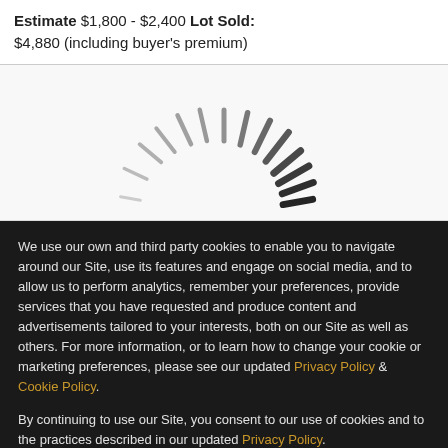Estimate $1,800 - $2,400 Lot Sold: $4,880 (including buyer's premium)
[Figure (other): Loading spinner / radial burst graphic, semi-circle of dashes arranged in a sunburst pattern, light gray on white background]
We use our own and third party cookies to enable you to navigate around our Site, use its features and engage on social media, and to allow us to perform analytics, remember your preferences, provide services that you have requested and produce content and advertisements tailored to your interests, both on our Site as well as others. For more information, or to learn how to change your cookie or marketing preferences, please see our updated Privacy Policy & Cookie Policy.
By continuing to use our Site, you consent to our use of cookies and to the practices described in our updated Privacy Policy.
CONTINUE